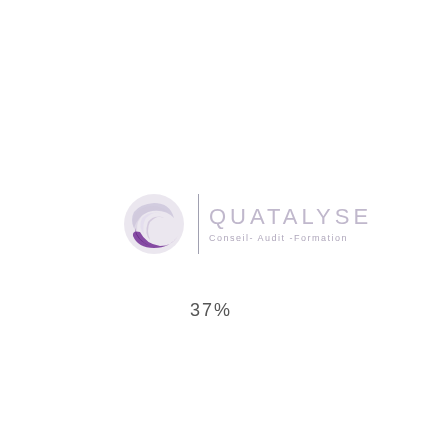[Figure (logo): Quatalyse logo: a stylized globe/swirl icon in purple and light lavender, a vertical divider line, then the text 'QUATALYSE' in large light lavender spaced letters, with 'Conseil- Audit -Formation' in smaller lavender text below]
37%